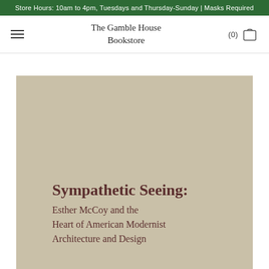Store Hours: 10am to 4pm, Tuesdays and Thursday-Sunday | Masks Required
The Gamble House Bookstore
[Figure (photo): Book cover of 'Sympathetic Seeing: Esther McCoy and the Heart of American Modernist Architecture and Design' shown on a tan/khaki colored background. The title text is printed in dark brownish-red serif font.]